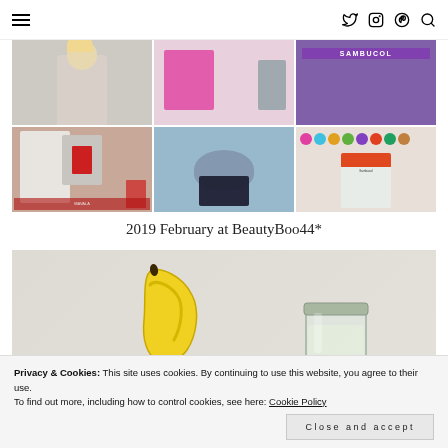Navigation bar with hamburger menu, Twitter, Instagram, Pinterest, and Search icons
[Figure (photo): 3x2 grid of blog post thumbnail images including a person, beauty products, Sambucol branding, nail polish, a manatee toy, colourful pom poms and Sambucol packaging]
2019 February at BeautyBoo44*
[Figure (photo): Overhead photo of a banana and a glass jar on a light grey surface]
Privacy & Cookies: This site uses cookies. By continuing to use this website, you agree to their use.
To find out more, including how to control cookies, see here: Cookie Policy
Close and accept